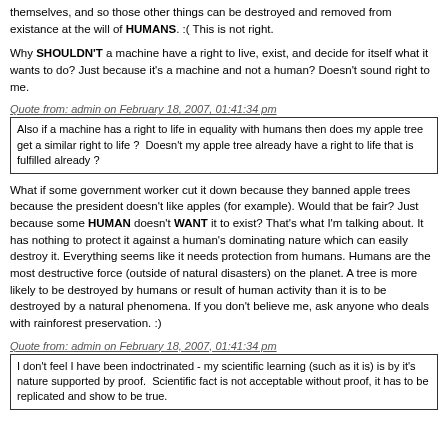themselves, and so those other things can be destroyed and removed from existance at the will of HUMANS. :( This is not right.
Why SHOULDN'T a machine have a right to live, exist, and decide for itself what it wants to do? Just because it's a machine and not a human? Doesn't sound right to me.
Quote from: admin on February 18, 2007, 01:41:34 pm
Also if a machine has a right to life in equality with humans then does my apple tree get a similar right to life ?  Doesn't my apple tree already have a right to life that is fulfilled already ?
What if some government worker cut it down because they banned apple trees because the president doesn't like apples (for example). Would that be fair? Just because some HUMAN doesn't WANT it to exist? That's what I'm talking about. It has nothing to protect it against a human's dominating nature which can easily destroy it. Everything seems like it needs protection from humans. Humans are the most destructive force (outside of natural disasters) on the planet. A tree is more likely to be destroyed by humans or result of human activity than it is to be destroyed by a natural phenomena. If you don't believe me, ask anyone who deals with rainforest preservation. :)
Quote from: admin on February 18, 2007, 01:41:34 pm
I don't feel I have been indoctrinated - my scientific learning (such as it is) is by it's nature supported by proof.  Scientific fact is not acceptable without proof, it has to be replicated and show to be true.